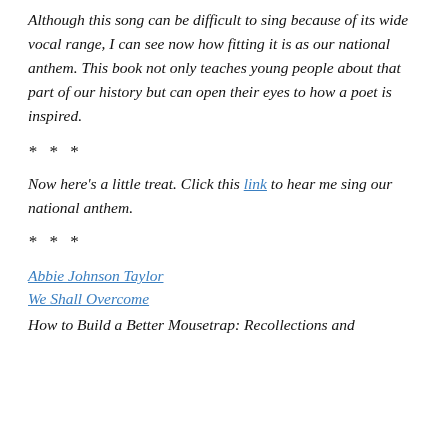Although this song can be difficult to sing because of its wide vocal range, I can see now how fitting it is as our national anthem. This book not only teaches young people about that part of our history but can open their eyes to how a poet is inspired.
* * *
Now here’s a little treat. Click this link to hear me sing our national anthem.
* * *
Abbie Johnson Taylor
We Shall Overcome
How to Build a Better Mousetrap: Recollections and